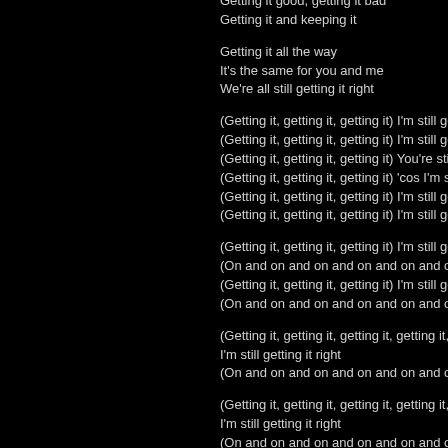Getting it good, getting it bad
Getting it and keeping it

Getting it all the way
It's the same for you and me
We're all still getting it right

(Getting it, getting it, getting it) I'm still getting it right
(Getting it, getting it, getting it) I'm still getting it right
(Getting it, getting it, getting it) You're still getting it ri
(Getting it, getting it, getting it) 'cos I'm still getting it
(Getting it, getting it, getting it) I'm still getting it right
(Getting it, getting it, getting it) I'm still getting it right

(Getting it, getting it, getting it) I'm still getting it right
(On and on and on and on and on and on and on an
(Getting it, getting it, getting it) I'm still getting it right
(On and on and on and on and on and on and on an

(Getting it, getting it, getting it, getting it, getting it, ge
I'm still getting it right
(On and on and on and on and on and on and on an

(Getting it, getting it, getting it, getting it, getting it, ge
I'm still getting it right
(On and on and on and on and on and on and on an

(Getting it, getting it, getting it, getting it, getting it, ge
I'm still getting it right
(On and on and on and on and on and on and on an

(Getting it, getting it, getting it, getting it, getting it, ge
I'm still getting it right
(On and on and on and on and on and on and on an

(Getting it, getting it, getting it, getting it, getting it, ge
I'm still getting it right